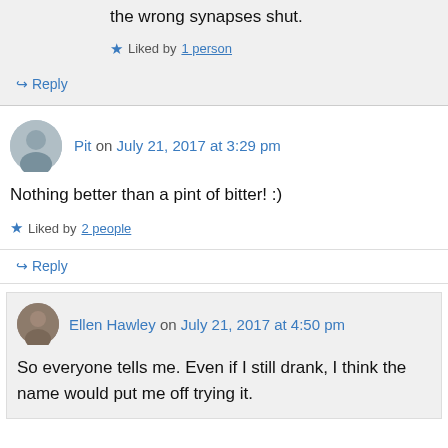the wrong synapses shut.
Liked by 1 person
Reply
Pit on July 21, 2017 at 3:29 pm
Nothing better than a pint of bitter! :)
Liked by 2 people
Reply
Ellen Hawley on July 21, 2017 at 4:50 pm
So everyone tells me. Even if I still drank, I think the name would put me off trying it.